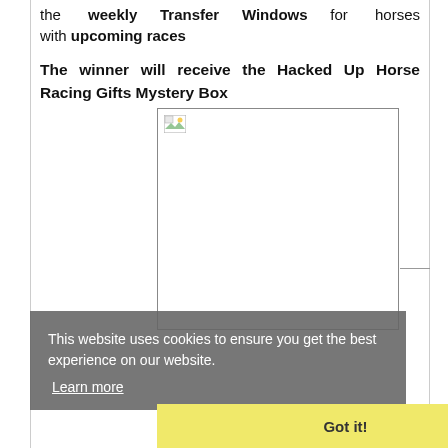the weekly Transfer Windows for horses with upcoming races
The winner will receive the Hacked Up Horse Racing Gifts Mystery Box
[Figure (photo): Broken/missing image placeholder with small landscape icon in top-left corner]
This website uses cookies to ensure you get the best experience on our website. Learn more
Got it!